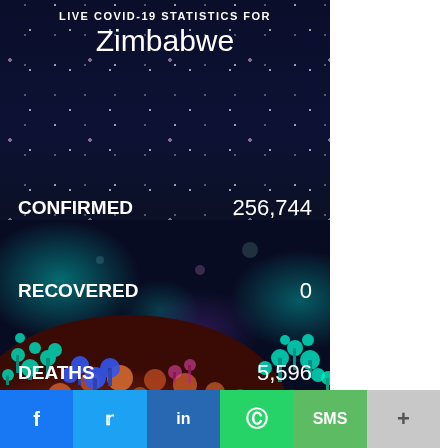LIVE COVID-19 STATISTICS FOR Zimbabwe
CONFIRMED  256,744
RECOVERED  0
DEATHS  5,596
[Figure (photo): 3D illustration of a coronavirus particle with colorful spike proteins (teal, blue, pink) against a dark navy background with light speckles]
f  Twitter  in  WhatsApp  SMS  +